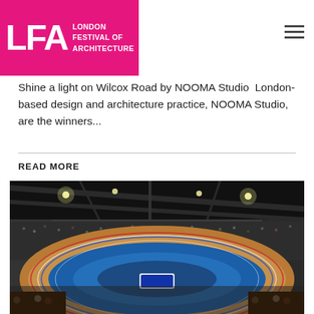LFA LONDON FESTIVAL OF ARCHITECTURE
Shine a light on Wilcox Road by NOOMA Studio  London-based design and architecture practice, NOOMA Studio, are the winners...
READ MORE
[Figure (photo): Interior photograph of a velodrome cycling track arena, showing the wooden banked oval track with blue infield, surrounded by spectators, taken from an elevated position inside the stadium.]